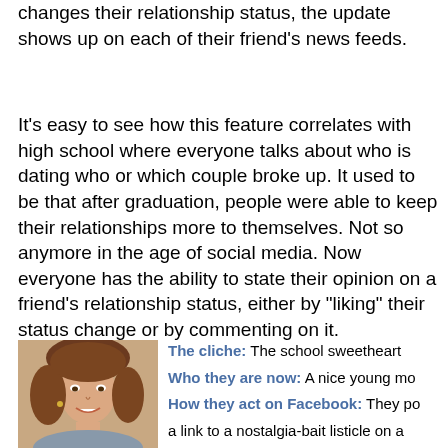changes their relationship status, the update shows up on each of their friend's news feeds.
It's easy to see how this feature correlates with high school where everyone talks about who is dating who or which couple broke up. It used to be that after graduation, people were able to keep their relationships more to themselves. Not so anymore in the age of social media. Now everyone has the ability to state their opinion on a friend's relationship status, either by "liking" their status change or by commenting on it.
[Figure (photo): Photo of a young woman with curly brown hair, smiling, appearing to be a school yearbook-style portrait.]
The cliche: The school sweetheart
Who they are now: A nice young mo...
How they act on Facebook: They po... a link to a nostalgia-bait listicle on a... high school friends' wall and tag six... other friends, who all Like it...